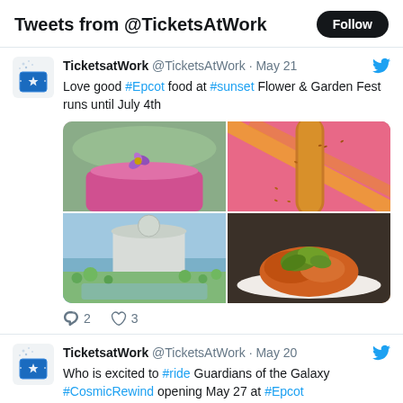Tweets from @TicketsAtWork
TicketsatWork @TicketsAtWork · May 21 — Love good #Epcot food at #sunset Flower & Garden Fest runs until July 4th
[Figure (photo): Four food/drink images from Epcot Flower & Garden Fest: pink drink with purple flower, corn dog, garden view, and cheesy dish]
2 comments, 3 likes
TicketsatWork @TicketsAtWork · May 20 — Who is excited to #ride Guardians of the Galaxy #CosmicRewind opening May 27 at #Epcot